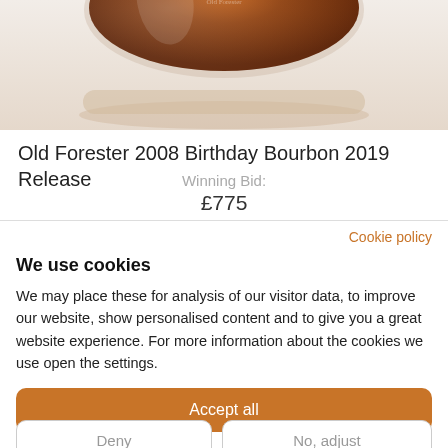[Figure (photo): Bottom portion of a whisky bottle with amber/brown liquid visible, shown against a light background with reflection]
Old Forester 2008 Birthday Bourbon 2019 Release
Winning Bid:
£775
Cookie policy
We use cookies
We may place these for analysis of our visitor data, to improve our website, show personalised content and to give you a great website experience. For more information about the cookies we use open the settings.
Accept all
Deny
No, adjust